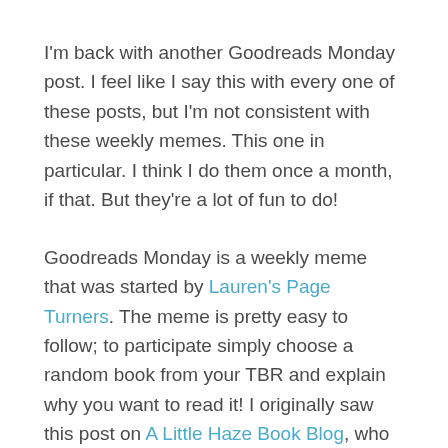I'm back with another Goodreads Monday post. I feel like I say this with every one of these posts, but I'm not consistent with these weekly memes. This one in particular. I think I do them once a month, if that. But they're a lot of fun to do!
Goodreads Monday is a weekly meme that was started by Lauren's Page Turners. The meme is pretty easy to follow; to participate simply choose a random book from your TBR and explain why you want to read it! I originally saw this post on A Little Haze Book Blog, who is amazing and you should definitely check their blog out.
I use a random number generator when picking the book from my TBR. This way, I have no idea what book I'm going to choose.